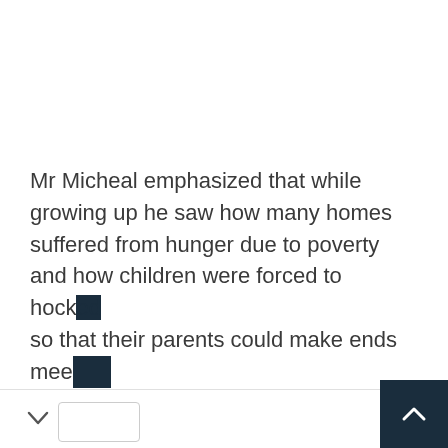Mr Micheal emphasized that while growing up he saw how many homes suffered from hunger due to poverty and how children were forced to hock so that their parents could make ends mee